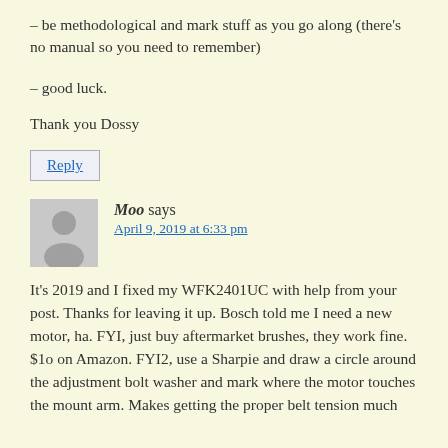– be methodological and mark stuff as you go along (there's no manual so you need to remember)
– good luck.
Thank you Dossy
Reply
Moo says
April 9, 2019 at 6:33 pm
It's 2019 and I fixed my WFK2401UC with help from your post. Thanks for leaving it up. Bosch told me I need a new motor, ha. FYI, just buy aftermarket brushes, they work fine. $1o on Amazon. FYI2, use a Sharpie and draw a circle around the adjustment bolt washer and mark where the motor touches the mount arm. Makes getting the proper belt tension much